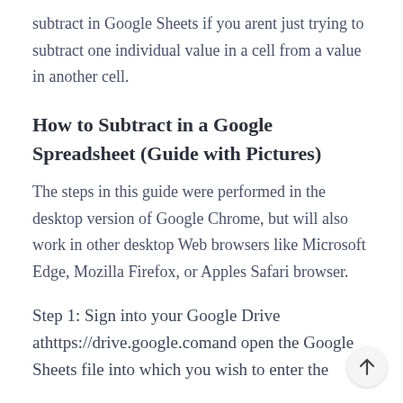subtract in Google Sheets if you arent just trying to subtract one individual value in a cell from a value in another cell.
How to Subtract in a Google Spreadsheet (Guide with Pictures)
The steps in this guide were performed in the desktop version of Google Chrome, but will also work in other desktop Web browsers like Microsoft Edge, Mozilla Firefox, or Apples Safari browser.
Step 1: Sign into your Google Drive athttps://drive.google.comand open the Google Sheets file into which you wish to enter the